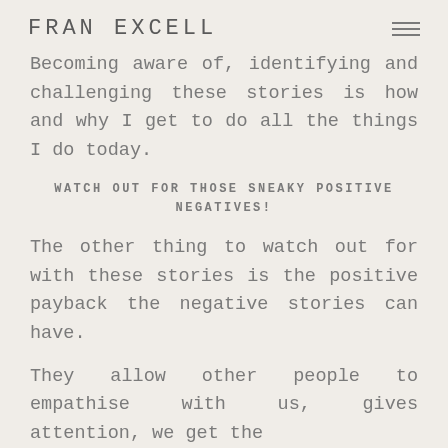FRAN EXCELL
Becoming aware of, identifying and challenging these stories is how and why I get to do all the things I do today.
WATCH OUT FOR THOSE SNEAKY POSITIVE NEGATIVES!
The other thing to watch out for with these stories is the positive payback the negative stories can have.
They allow other people to empathise with us, gives attention, we get the